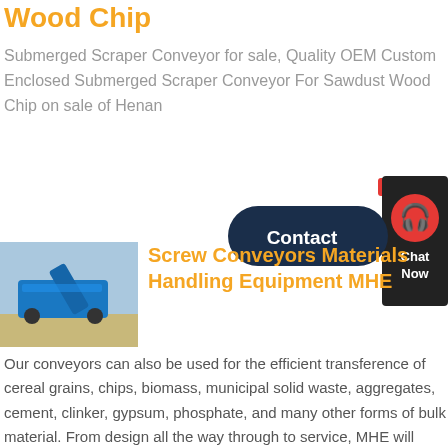Wood Chip
Submerged Scraper Conveyor for sale, Quality OEM Custom Enclosed Submerged Scraper Conveyor For Sawdust Wood Chip on sale of Henan
[Figure (infographic): Contact button (dark navy pill shape) with 'Contact' text, and a chat widget with headset icon and 'Chat Now' text on dark background, with red X close button]
[Figure (photo): Blue industrial conveyor or crusher machine on open ground under blue sky]
Screw Conveyors Materials Handling Equipment MHE
Our conveyors can also be used for the efficient transference of cereal grains, chips, biomass, municipal solid waste, aggregates, cement, clinker, gypsum, phosphate, and many other forms of bulk material. From design all the way through to service, MHE will work